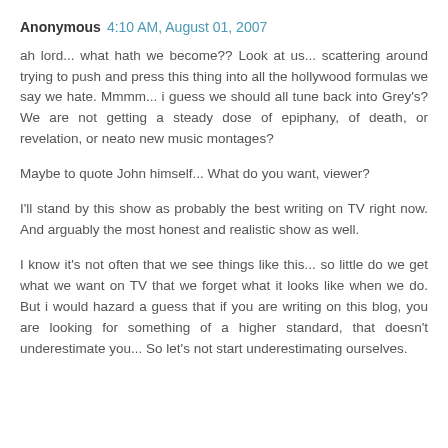Anonymous 4:10 AM, August 01, 2007
ah lord... what hath we become?? Look at us... scattering around trying to push and press this thing into all the hollywood formulas we say we hate. Mmmm... i guess we should all tune back into Grey's? We are not getting a steady dose of epiphany, of death, or revelation, or neato new music montages?
Maybe to quote John himself... What do you want, viewer?
I'll stand by this show as probably the best writing on TV right now. And arguably the most honest and realistic show as well.
I know it's not often that we see things like this... so little do we get what we want on TV that we forget what it looks like when we do. But i would hazard a guess that if you are writing on this blog, you are looking for something of a higher standard, that doesn't underestimate you... So let's not start underestimating ourselves.